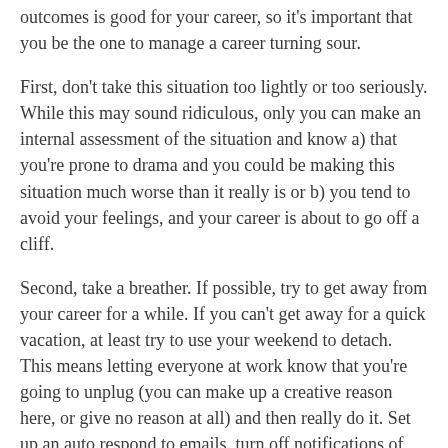outcomes is good for your career, so it's important that you be the one to manage a career turning sour.
First, don't take this situation too lightly or too seriously. While this may sound ridiculous, only you can make an internal assessment of the situation and know a) that you're prone to drama and you could be making this situation much worse than it really is or b) you tend to avoid your feelings, and your career is about to go off a cliff.
Second, take a breather. If possible, try to get away from your career for a while. If you can't get away for a quick vacation, at least try to use your weekend to detach. This means letting everyone at work know that you're going to unplug (you can make up a creative reason here, or give no reason at all) and then really do it. Set up an auto respond to emails, turn off notifications of the latest basketball score and get away from screens. Period.
Third, occupy yourself with something completely unrelated to work. Buy a paint by numbers kit and do it. Go dig in the dirt and plant something. Buy a kite and fly it. Repaint your